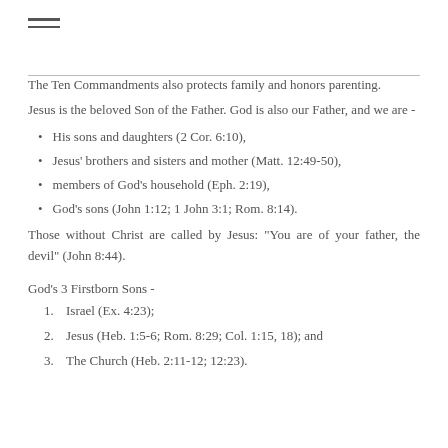The Ten Commandments also protects family and honors parenting.
Jesus is the beloved Son of the Father. God is also our Father, and we are -
His sons and daughters (2 Cor. 6:10),
Jesus' brothers and sisters and mother (Matt. 12:49-50),
members of God's household (Eph. 2:19),
God's sons (John 1:12; 1 John 3:1; Rom. 8:14).
Those without Christ are called by Jesus: "You are of your father, the devil" (John 8:44).
God's 3 Firstborn Sons -
1. Israel (Ex. 4:23);
2. Jesus (Heb. 1:5-6; Rom. 8:29; Col. 1:15, 18); and
3. The Church (Heb. 2:11-12; 12:23).